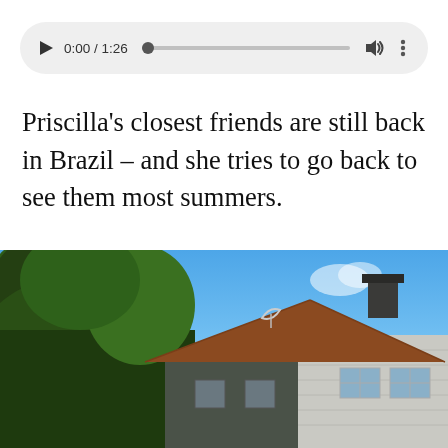[Figure (screenshot): Audio player control bar showing play button, timestamp 0:00 / 1:26, progress bar, volume icon, and options dots, on a light gray rounded rectangle background.]
Priscilla’s closest friends are still back in Brazil – and she tries to go back to see them most summers.
[Figure (photo): Outdoor photograph showing a house with a brown shingled roof and dark siding on the left, a white clapboard addition on the right, with a satellite dish and a chimney visible on the roofline. Large green trees are visible on the left side, with a blue sky in the background.]